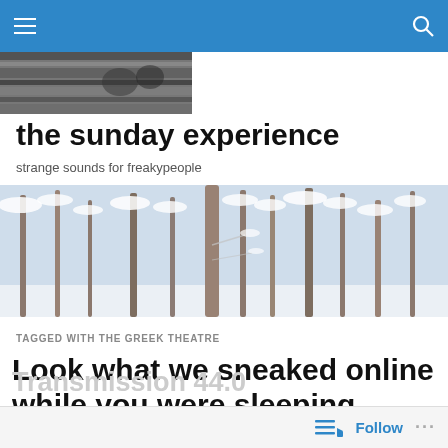the sunday experience — navigation bar
[Figure (photo): Partial header photo strip showing dark horizontal bands, monochrome image]
the sunday experience
strange sounds for freakypeople
[Figure (photo): Snowy winter forest scene with snow-covered bare trees and a tall pine trunk in the center]
TAGGED WITH THE GREEK THEATRE
Look what we sneaked online while you were sleeping…
Follow